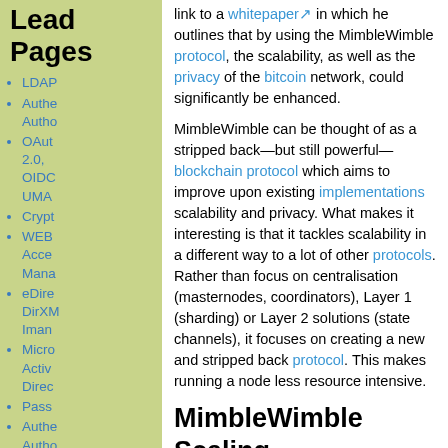Lead Pages
LDAP
Authe... Autho...
OAuth 2.0, OIDC UMA
Crypt...
WEBI... Access... Mana...
eDire... DirXM... Iman...
Micro... Activ... Direc...
Pass...
Authe... Autho...
Gloss...
link to a whitepaper in which he outlines that by using the MimbleWimble protocol, the scalability, as well as the privacy of the bitcoin network, could significantly be enhanced.
MimbleWimble can be thought of as a stripped back—but still powerful—blockchain protocol which aims to improve upon existing implementations scalability and privacy. What makes it interesting is that it tackles scalability in a different way to a lot of other protocols. Rather than focus on centralisation (masternodes, coordinators), Layer 1 (sharding) or Layer 2 solutions (state channels), it focuses on creating a new and stripped back protocol. This makes running a node less resource intensive.
MimbleWimble Scaling
Unlike other projects, which aim for huge throughput (amazing how many projects are promising 1 million transactions per second), MimbleWimble elects to eradicate inefficiencies, rather than increase the power, by pruning the